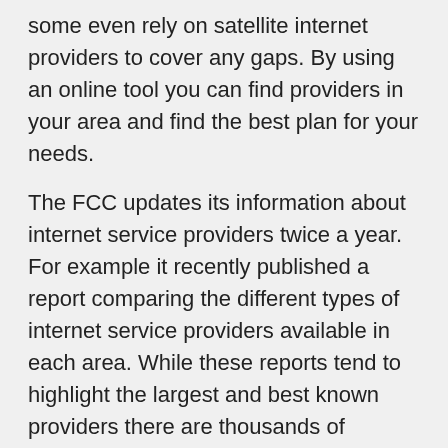some even rely on satellite internet providers to cover any gaps. By using an online tool you can find providers in your area and find the best plan for your needs.
The FCC updates its information about internet service providers twice a year. For example it recently published a report comparing the different types of internet service providers available in each area. While these reports tend to highlight the largest and best known providers there are thousands of smaller providers that operate in more local markets. Some of the smaller providers you can find in your area include RCN Ziply Fiber WideOpenWest and many more.
The cost of residential internet service varies from $30 to $70 per month with prices ranging from around $32 for a 10Mbps connection to $41 for a 50Mbps plan. Similarly a 65 Mbps plan can cost upwards of $70 per month. The cost per megabit-second depends on the